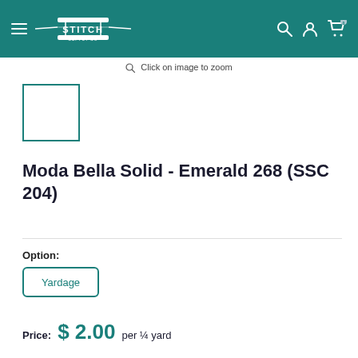Stitch Supply Co — navigation header
Click on image to zoom
[Figure (other): Small thumbnail image placeholder with teal border]
Moda Bella Solid - Emerald 268 (SSC 204)
Option: Yardage
Price: $ 2.00 per ¼ yard